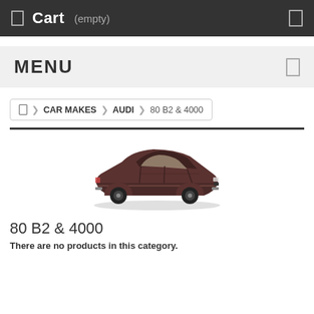Cart (empty)
MENU
CAR MAKES > AUDI > 80 B2 & 4000
[Figure (photo): Dark brown/maroon Audi 80 B2 / 4000 sedan, side profile view]
80 B2 & 4000
There are no products in this category.